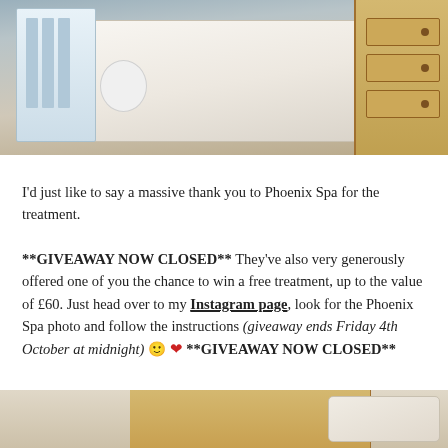[Figure (photo): Photo of a spa treatment room with a white massage/treatment bed, a white medical trolley with bottles on the left, a wicker basket, and a wooden dresser/drawers on the right. Floor appears to be grey wood-effect.]
I'd just like to say a massive thank you to Phoenix Spa for the treatment.
**GIVEAWAY NOW CLOSED** They've also very generously offered one of you the chance to win a free treatment, up to the value of £60. Just head over to my Instagram page, look for the Phoenix Spa photo and follow the instructions (giveaway ends Friday 4th October at midnight) 🙂 ❤ **GIVEAWAY NOW CLOSED**
[Figure (photo): Partial photo showing the bottom portion of a spa or wellness setting, with wooden furniture and what appears to be rolled/folded white towels.]